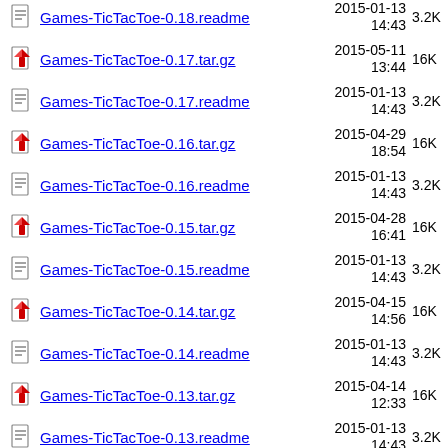Games-TicTacToe-0.18.readme  2015-01-13 14:43  3.2K
Games-TicTacToe-0.17.tar.gz  2015-05-11 13:44  16K
Games-TicTacToe-0.17.readme  2015-01-13 14:43  3.2K
Games-TicTacToe-0.16.tar.gz  2015-04-29 18:54  16K
Games-TicTacToe-0.16.readme  2015-01-13 14:43  3.2K
Games-TicTacToe-0.15.tar.gz  2015-04-28 16:41  16K
Games-TicTacToe-0.15.readme  2015-01-13 14:43  3.2K
Games-TicTacToe-0.14.tar.gz  2015-04-15 14:56  16K
Games-TicTacToe-0.14.readme  2015-01-13 14:43  3.2K
Games-TicTacToe-0.13.tar.gz  2015-04-14 12:33  16K
Games-TicTacToe-0.13.readme  2015-01-13 14:43  3.2K
Games-TicTacToe-0.12.tar.gz  2015-04-13  16K